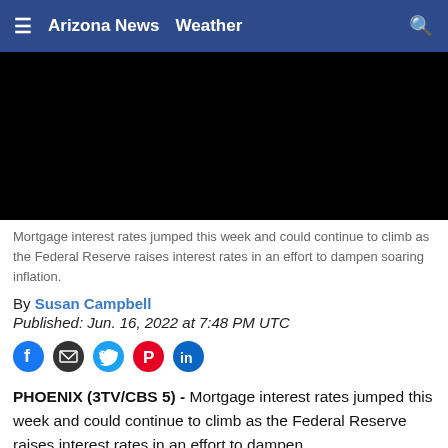≡  Arizona News  Weather  🔍
[Figure (screenshot): Black video player rectangle]
Mortgage interest rates jumped this week and could continue to climb as the Federal Reserve raises interest rates in an effort to dampen soaring inflation.
By Susan Campbell
Published: Jun. 16, 2022 at 7:48 PM UTC
[Figure (other): Social share icons: Facebook, Email, Twitter, Pinterest, LinkedIn]
PHOENIX (3TV/CBS 5) - Mortgage interest rates jumped this week and could continue to climb as the Federal Reserve raises interest rates in an effort to dampen